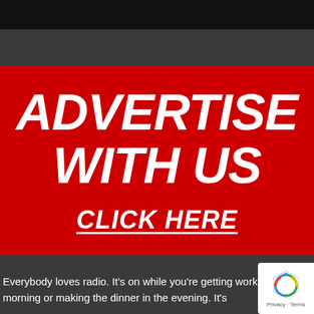[Figure (other): Partial dark banner/header visible at top of page]
[Figure (infographic): Red advertisement banner with bold white italic text reading ADVERTISE WITH US and CLICK HERE with underline]
Everybody loves radio. It's on while you're getting work in the morning or making the dinner in the evening. It's
[Figure (logo): reCAPTCHA badge with Google reCAPTCHA icon and Privacy - Terms text]